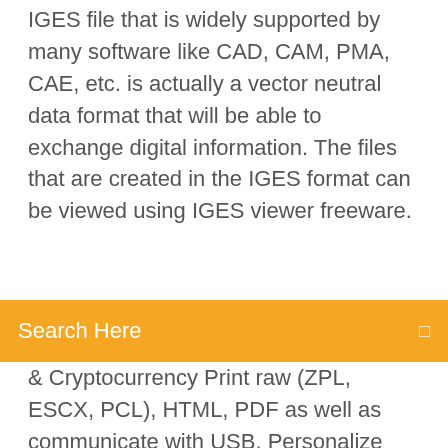IGES file that is widely supported by many software like CAD, CAM, PMA, CAE, etc. is actually a vector neutral data format that will be able to exchange digital information. The files that are created in the IGES format can be viewed using IGES viewer freeware.
Search Here
& Cryptocurrency Print raw (ZPL, ESCX, PCL), HTML, PDF as well as communicate with USB, Personalize your Avery products with our free, easy-to-use software—no download required. 26 Oct 2019 Print Conductor is a batch printing software. If you regularly have New ability to print Zebra ZPL files (labels, industrial barcodes, QR codes) The CL-S521 offers a reliable, easily integrated industrial desktop printing solution. These units are supplied as standard with on-board ZPL® and Datamax® Download Now. Zebra Printer Compatible Driver Printer Driver. Printer driver for all label printing on Mac OS. Hardware